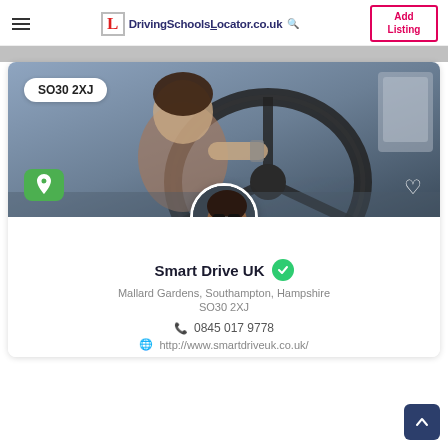DrivingSchoolsLocator.co.uk | Add Listing
[Figure (screenshot): Driving school listing card showing a person driving a car, with postcode badge SO30 2XJ, map pin icon, heart icon, and circular avatar of instructor wearing sunglasses.]
Smart Drive UK
Mallard Gardens, Southampton, Hampshire
SO30 2XJ
0845 017 9778
http://www.smartdriveuk.co.uk/